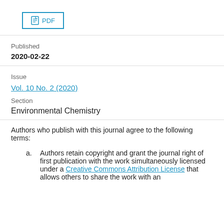[Figure (other): PDF button with document icon and text 'PDF']
Published
2020-02-22
Issue
Vol. 10 No. 2 (2020)
Section
Environmental Chemistry
Authors who publish with this journal agree to the following terms:
Authors retain copyright and grant the journal right of first publication with the work simultaneously licensed under a Creative Commons Attribution License that allows others to share the work with an